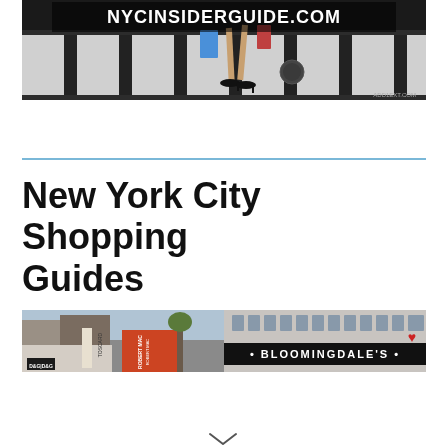[Figure (photo): NYC Insider Guide banner image showing a woman in heels crossing a zebra crosswalk with shopping bags, with NYCINSIDERGUIDE.COM text overlay at top and ADD1EXT.COM watermark at bottom right]
New York City Shopping Guides
[Figure (photo): Two side-by-side shopping street photos: left showing D&G/Dolce & Gabbana and Robert Marc storefronts, right showing Bloomingdale's store facade]